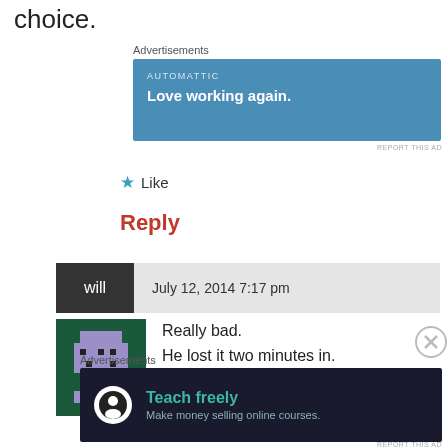choice.
Advertisements
[Figure (other): Blue advertisement banner for Automattic: 'Love working again.']
REPORT THIS AD
★ Like
Reply
will · July 12, 2014 7:17 pm
[Figure (other): Pixel art avatar icon for user 'will']
Really bad.
He lost it two minutes in.
Not sending off Silva showed an
Advertisements
[Figure (other): Dark advertisement banner: 'Teach freely – Make money selling online courses.']
REPORT THIS AD